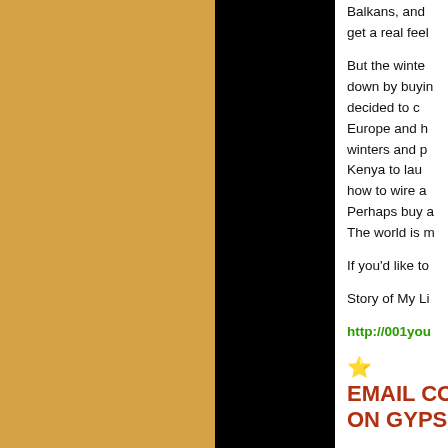[Figure (other): Gold/tan textured background panel on the left side of the page]
[Figure (other): Black vertical panel in the center of the page]
Balkans, and get a real feel
But the winters down by buyin decided to c Europe and h winters and p Kenya to lau how to wire a Perhaps buy a The world is m
If you'd like to
Story of My Li
http://001you
EMAIL CO ON GYPS